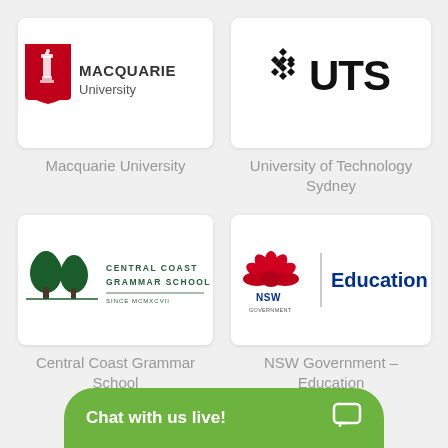[Figure (logo): Macquarie University logo with red shield and lighthouse, text reads MACQUARIE University]
Macquarie University
[Figure (logo): UTS logo with geometric pattern and bold text UTS]
University of Technology Sydney
[Figure (logo): Central Coast Grammar School logo with two green trees and text CENTRAL COAST GRAMMAR SCHOOL]
Central Coast Grammar School
[Figure (logo): NSW Government Education logo with red waratah flower, vertical bar, and text NSW Government | Education]
NSW Government – Education
Chat with us live!